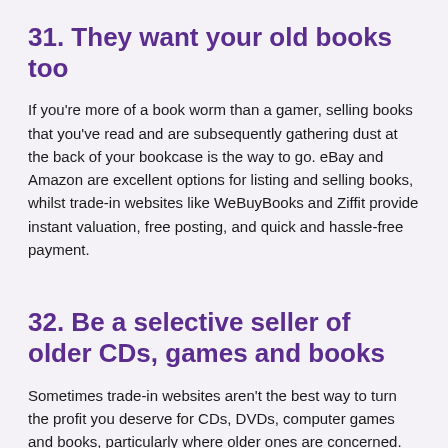31. They want your old books too
If you're more of a book worm than a gamer, selling books that you've read and are subsequently gathering dust at the back of your bookcase is the way to go. eBay and Amazon are excellent options for listing and selling books, whilst trade-in websites like WeBuyBooks and Ziffit provide instant valuation, free posting, and quick and hassle-free payment.
32. Be a selective seller of older CDs, games and books
Sometimes trade-in websites aren't the best way to turn the profit you deserve for CDs, DVDs, computer games and books, particularly where older ones are concerned. CDs and games from the 1990s are particularly popular